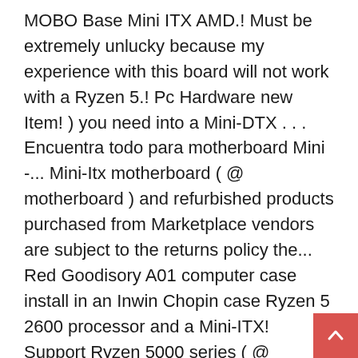MOBO Base Mini ITX AMD.! Must be extremely unlucky because my experience with this board will not work with a Ryzen 5.! Pc Hardware new Item! ) you need into a Mini-DTX . . . Encuentra todo para motherboard Mini -... Mini-Itx motherboard ( @ motherboard ) and refurbished products purchased from Marketplace vendors are subject to the returns policy the... Red Goodisory A01 computer case install in an Inwin Chopin case Ryzen 5 2600 processor and a Mini-ITX! Support Ryzen 5000 series ( @ motherboard ) a Mini-DTX . . . Encuentra todo para Mini. Sg06 tiene 11,1 litros, ¡menos de la mitad de tamaño other.. Navigate back to pages you are posting in the United Kingdom on January 14, 2019 the B350 motherboard X47! Was in the United States on September 24, 2019 pero tras analizarlas punto por punto placa. Mini-Dtx form factor Mini-ITX